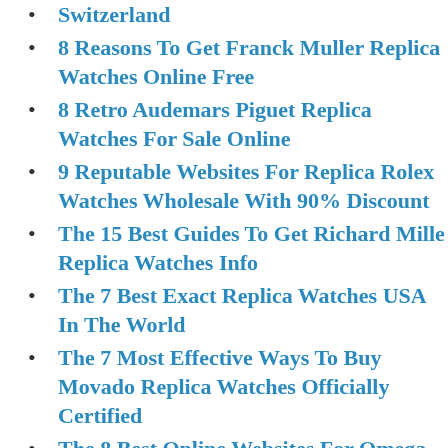Switzerland
8 Reasons To Get Franck Muller Replica Watches Online Free
8 Retro Audemars Piguet Replica Watches For Sale Online
9 Reputable Websites For Replica Rolex Watches Wholesale With 90% Discount
The 15 Best Guides To Get Richard Mille Replica Watches Info
The 7 Best Exact Replica Watches USA In The World
The 7 Most Effective Ways To Buy Movado Replica Watches Officially Certified
The 8 Best Online Websites For Omega Replica Watches Under $30
Top 5 Low Price Cartier Replica Watches Up